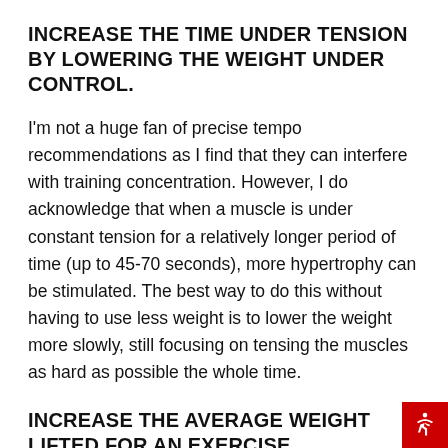INCREASE THE TIME UNDER TENSION BY LOWERING THE WEIGHT UNDER CONTROL.
I'm not a huge fan of precise tempo recommendations as I find that they can interfere with training concentration. However, I do acknowledge that when a muscle is under constant tension for a relatively longer period of time (up to 45-70 seconds), more hypertrophy can be stimulated. The best way to do this without having to use less weight is to lower the weight more slowly, still focusing on tensing the muscles as hard as possible the whole time.
INCREASE THE AVERAGE WEIGHT LIFTED FOR AN EXERCISE.
This is very similar to the first method, except whereas increasing the load refers to lifting more weight on you may set, this one refers to lifting more weight on